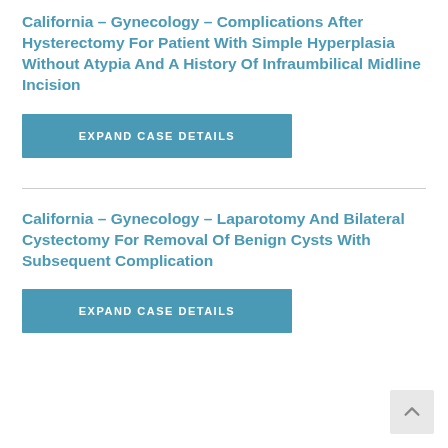California – Gynecology – Complications After Hysterectomy For Patient With Simple Hyperplasia Without Atypia And A History Of Infraumbilical Midline Incision
EXPAND CASE DETAILS
California – Gynecology – Laparotomy And Bilateral Cystectomy For Removal Of Benign Cysts With Subsequent Complication
EXPAND CASE DETAILS